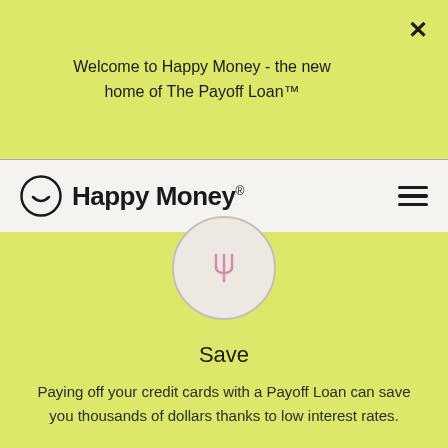Welcome to Happy Money - the new home of The Payoff Loan™
[Figure (logo): Happy Money logo with smiley face circle icon and hamburger menu icon]
[Figure (illustration): Pink fork/trident icon inside a light beige circle]
Save
Paying off your credit cards with a Payoff Loan can save you thousands of dollars thanks to low interest rates.